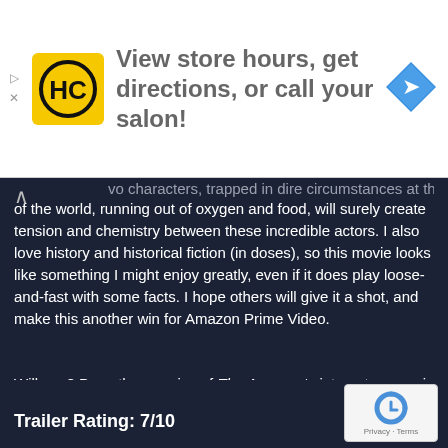[Figure (advertisement): Ad banner with HC salon logo, text 'View store hours, get directions, or call your salon!', and a blue navigation arrow icon]
vo characters, trapped in dire circumstances at the top of the world, running out of oxygen and food, will surely create tension and chemistry between these incredible actors. I also love history and historical fiction (in doses), so this movie looks like something I might enjoy greatly, even if it does play loose-and-fast with some facts. I hope others will give it a shot, and make this another win for Amazon Prime Video.
Will you? Does the premise of The Aeronauts interest you, or is it too fictionalized? Share your thoughts in the comments below!
Trailer Rating: 7/10
[Figure (logo): Google reCAPTCHA badge with Privacy and Terms links]